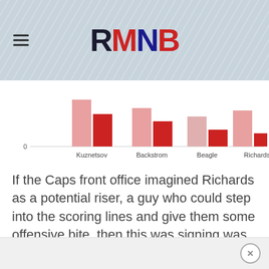[Figure (logo): RMNB logo in large bold letters: R dark navy, M red, N dark blue, B red]
[Figure (grouped-bar-chart): Grouped bar chart comparing players]
If the Caps front office imagined Richards as a potential riser, a guy who could step into the scoring lines and give them some offensive bite, then this was signing was a miss.